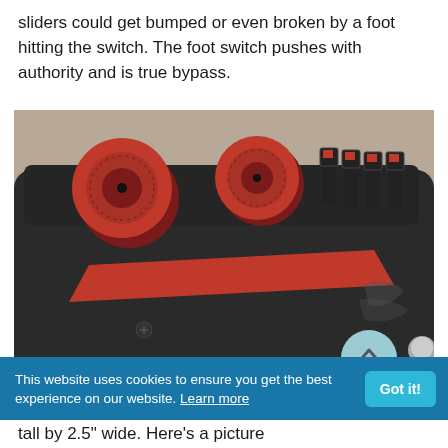sliders could get bumped or even broken by a foot hitting the switch. The foot switch pushes with authority and is true bypass.
[Figure (photo): Close-up photo of a black guitar effects pedal with two red knobs on top, several mini toggle sliders with red accents, and a red accent stripe across the body. A circular back-to-top button is visible in the lower right corner of the image.]
This website uses cookies to ensure you get the best experience on our website. Learn more
tall by 2.5" wide. Here's a picture